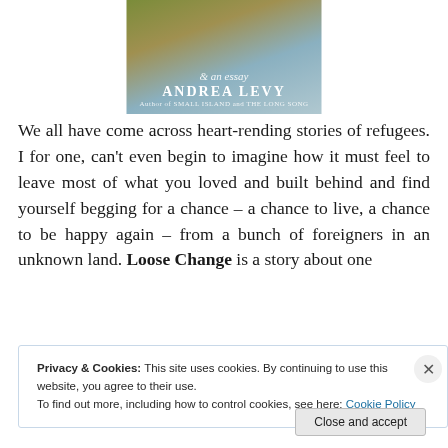[Figure (photo): Book cover of Andrea Levy's work showing a knitted sweater background with text 'Andrea Levy, Author of SMALL ISLAND and THE LONG SONG' and italic script text '& an essay']
We all have come across heart-rending stories of refugees. I for one, can't even begin to imagine how it must feel to leave most of what you loved and built behind and find yourself begging for a chance – a chance to live, a chance to be happy again – from a bunch of foreigners in an unknown land. Loose Change is a story about one
Privacy & Cookies: This site uses cookies. By continuing to use this website, you agree to their use.
To find out more, including how to control cookies, see here: Cookie Policy
Close and accept